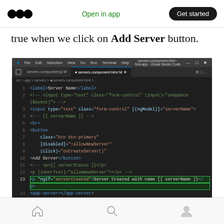Open in app | Get started
true when we click on Add Server button.
[Figure (screenshot): Visual Studio Code editor showing servers.component.html file with Angular template code. Line 13 is highlighted with a green border showing: <p *ngIf="serverCreated">Server Created with name {{ serverName }}</p>]
servers.component.html